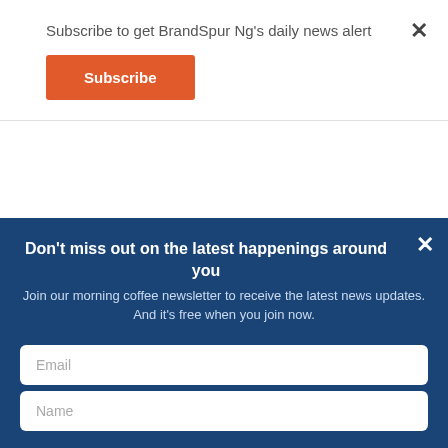Subscribe to get BrandSpur Ng's daily news alert
Subscribe
Notes:
1. Hong Kong SAR refers to Hong Kong Special
Don't miss out on the latest happenings around you
Join our morning coffee newsletter to receive the latest news updates. And it's free when you join now.
Email
Name